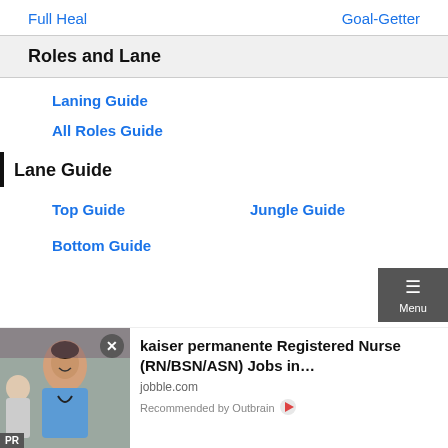Full Heal   Goal-Getter
Roles and Lane
Laning Guide
All Roles Guide
Lane Guide
Top Guide
Jungle Guide
Bottom Guide
[Figure (photo): A nurse in blue scrubs with a stethoscope smiling, alongside an elderly patient. PR badge visible at bottom left.]
kaiser permanente Registered Nurse (RN/BSN/ASN) Jobs in…
jobble.com
Recommended by Outbrain